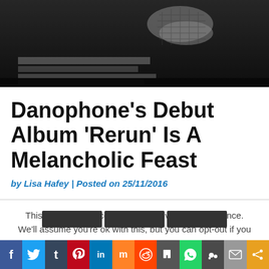[Figure (photo): Black and white photo showing hands resting on books or surfaces, partially cropped]
Danophone’s Debut Album ‘Rerun’ Is A Melancholic Feast
by Lisa Hafey | Posted on 25/11/2016
This website uses cookies to improve your experience. We’ll assume you’re ok with this, but you can opt-out if you wish.